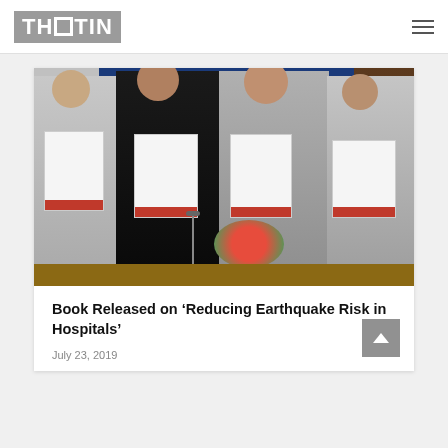THOTIN
[Figure (photo): Four men standing behind a table holding copies of a book. A banner in the background reads 'Mental Health Services in Disasters, NDMA Bhavan, New Delhi'. Flowers on the table.]
Book Released on ‘Reducing Earthquake Risk in Hospitals’
July 23, 2019